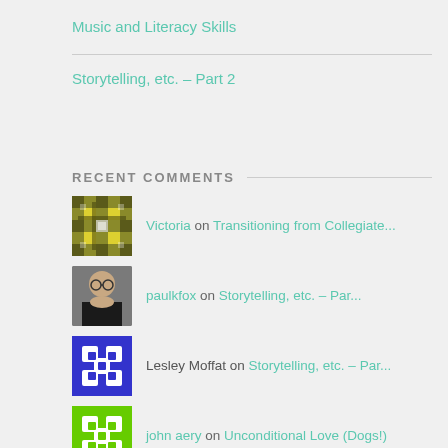Music and Literacy Skills
Storytelling, etc. – Part 2
RECENT COMMENTS
Victoria on Transitioning from Collegiate...
paulkfox on Storytelling, etc. – Par...
Lesley Moffat on Storytelling, etc. – Par...
john aery on Unconditional Love (Dogs!)
Wayne W Walls on Overview – Strategies fo...